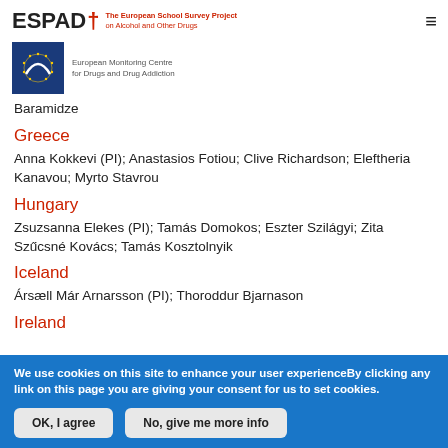ESPAD† The European School Survey Project on Alcohol and Other Drugs
[Figure (logo): European Monitoring Centre for Drugs and Drug Addiction logo with blue square and arc symbol]
Baramidze
Greece
Anna Kokkevi (PI); Anastasios Fotiou; Clive Richardson; Eleftheria Kanavou; Myrto Stavrou
Hungary
Zsuzsanna Elekes (PI); Tamás Domokos; Eszter Szilágyi; Zita Szűcsné Kovács; Tamás Kosztolnyik
Iceland
Ársæll Már Arnarsson (PI); Thoroddur Bjarnason
Ireland
We use cookies on this site to enhance your user experienceBy clicking any link on this page you are giving your consent for us to set cookies.